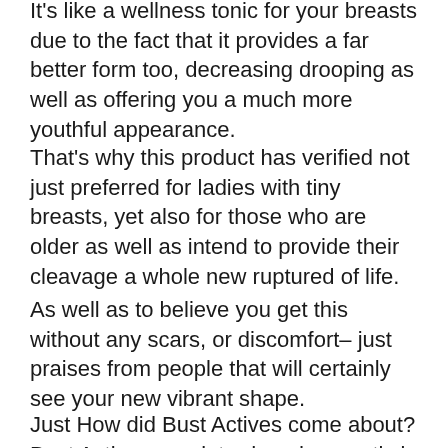It's like a wellness tonic for your breasts due to the fact that it provides a far better form too, decreasing drooping as well as offering you a much more youthful appearance.
That's why this product has verified not just preferred for ladies with tiny breasts, yet also for those who are older as well as intend to provide their cleavage a whole new ruptured of life.
As well as to believe you get this without any scars, or discomfort– just praises from people that will certainly see your new vibrant shape.
Just How did Bust Actives come about? Bust Actives was introduced currently in